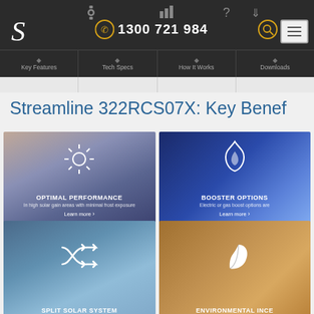1300 721 984 | Key Features | Tech Specs | How It Works | Downloads
Streamline 322RCS07X: Key Benefits
[Figure (illustration): Optimal Performance card - sun icon on blue-grey gradient background with text 'OPTIMAL PERFORMANCE' and subtitle 'In high solar gain areas with minimal frost exposure', Learn more link]
[Figure (illustration): Booster Options card - flame/water drop icon on blue gradient background with text 'BOOSTER OPTIONS' and subtitle 'Electric or gas boost options are', Learn more link]
[Figure (illustration): Split Solar System card - shuffle icon on blue water background with text 'SPLIT SOLAR SYSTEM']
[Figure (illustration): Environmental Incentives card - leaf icon on amber/brown background with text 'ENVIRONMENTAL INCE']